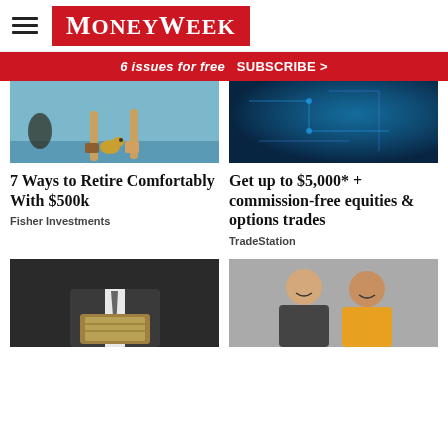MoneyWeek
6 issues for free  SUBSCRIBE >
[Figure (photo): People on paddleboards with a dog, cartoon-style illustration]
7 Ways to Retire Comfortably With $500k
Fisher Investments
[Figure (photo): Blue digital technology background with abstract patterns]
Get up to $5,000* + commission-free equities & options trades
TradeStation
[Figure (photo): Person in suit holding cash/money bills]
[Figure (photo): Two smiling women, one in yellow jacket, on grey background]